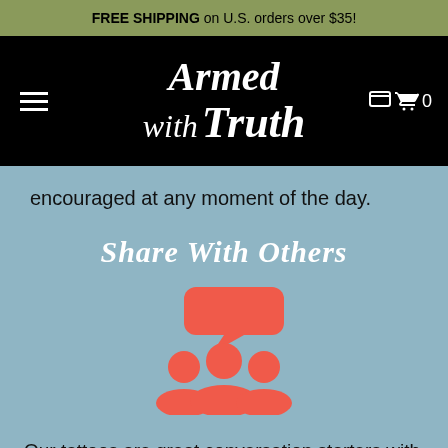FREE SHIPPING on U.S. orders over $35!
[Figure (logo): Armed with Truth blackletter logo on black navigation bar with hamburger menu icon on left and cart icon with 0 on right]
encouraged at any moment of the day.
Share With Others
[Figure (illustration): Coral/red icon showing three people silhouettes with a speech bubble above them, representing sharing]
Our tattoos are great conversation starters with friends, family, and strangers, too! Share a pack with your friend, memorize scripture together,